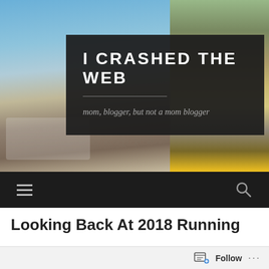[Figure (photo): Blog header banner showing two photos: left side shows a city waterfront skyline with a blue sky and large decorative 'we' letters; right side shows a bicycle with yellow accents parked near bare trees in autumn light. A dark semi-transparent overlay box sits in the center containing the site title and tagline.]
I CRASHED THE WEB
mom, blogger, but not a mom blogger
[Figure (screenshot): Dark navigation bar with hamburger menu icon on left and search (magnifying glass) icon on right]
Looking Back At 2018 Running
[Figure (screenshot): Bottom WordPress Follow bar with follow icon and Follow button plus ellipsis menu]